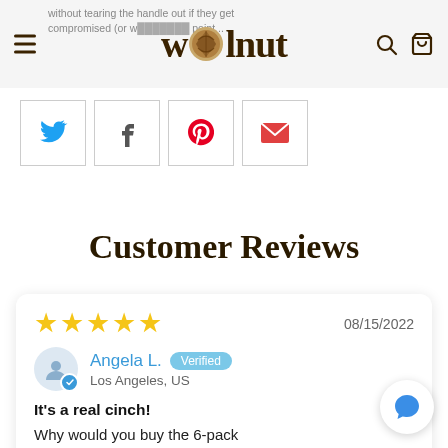without tearing the handle out if they get compromised (or whatever that point...
[Figure (logo): Walnut logo with stylized walnut icon between letters]
[Figure (infographic): Social share buttons: Twitter, Facebook, Pinterest, Email]
Customer Reviews
★★★★★  08/15/2022  Angela L. Verified  Los Angeles, US  It's a real cinch!  Why would you buy the 6-pack frame and NOT get this? It's such a